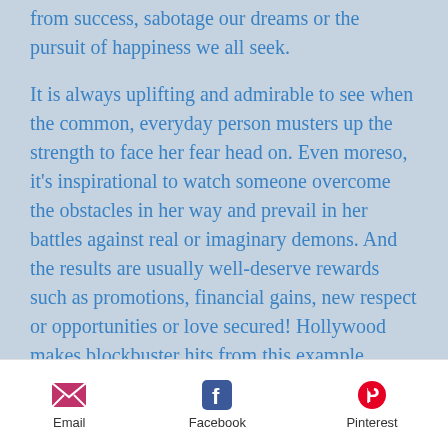from success, sabotage our dreams or the pursuit of happiness we all seek.
It is always uplifting and admirable to see when the common, everyday person musters up the strength to face her fear head on. Even moreso, it’s inspirational to watch someone overcome the obstacles in her way and prevail in her battles against real or imaginary demons. And the results are usually well-deserve rewards such as promotions, financial gains, new respect or opportunities or love secured! Hollywood makes blockbuster hits from this example (think: Melanie Griffin in the movie Working Girl) and we all cheer
Email   Facebook   Pinterest